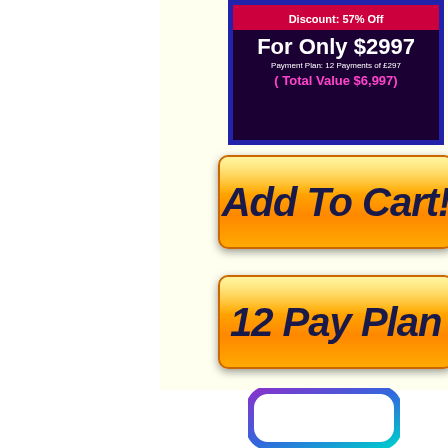[Figure (screenshot): Pricing box with dark purple background and dark blue border. Shows 'Discount: 57% Off' in red bar, 'For Only $2997' in white bold text, 'Payment Plan: 12 Payments of £297' in white small text, and '( Total Value $6,997)' in pink/magenta text.]
[Figure (screenshot): Orange gradient 'Add To Cart!' button with dark italic bold text]
[Figure (screenshot): Orange gradient '12 Pay Plan' button with dark italic bold text, partially cropped on right]
[Figure (logo): Rounded rectangle logo shape in purple-to-teal gradient, partially visible at bottom of page]